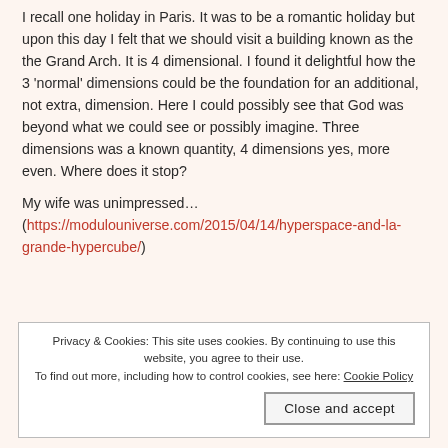I recall one holiday in Paris. It was to be a romantic holiday but upon this day I felt that we should visit a building known as the the Grand Arch. It is 4 dimensional. I found it delightful how the 3 'normal' dimensions could be the foundation for an additional, not extra, dimension. Here I could possibly see that God was beyond what we could see or possibly imagine. Three dimensions was a known quantity, 4 dimensions yes, more even. Where does it stop?

My wife was unimpressed…
(https://modulouniverse.com/2015/04/14/hyperspace-and-la-grande-hypercube/)
Privacy & Cookies: This site uses cookies. By continuing to use this website, you agree to their use. To find out more, including how to control cookies, see here: Cookie Policy